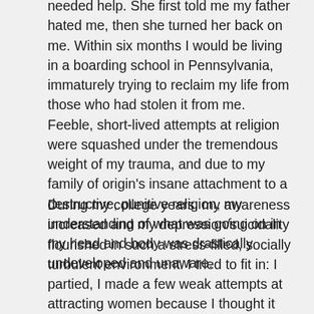needed help. She first told me my father hated me, then she turned her back on me. Within six months I would be living in a boarding school in Pennsylvania, immaturely trying to reclaim my life from those who had stolen it from me. Feeble, short-lived attempts at religion were squashed under the tremendous weight of my trauma, and due to my family of origin's insane attachment to a destructive, punitive religion, my understanding of what was going on in my head and body was drastically undeveloped and unaware.
During my college years, my awareness increased and my depression/suicidality flourished in such a stress-filled, socially turbulent environment. I tried to fit in: I partied, I made a few weak attempts at attracting women because I thought it was what I was supposed to do, but it didn't feel right. I didn't feel like the other guys: